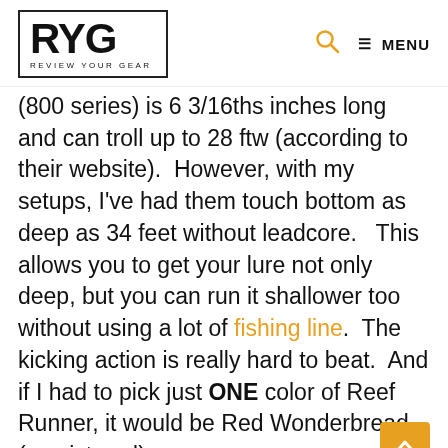RYG REVIEW YOUR GEAR — MENU
(800 series) is 6 3/16ths inches long and can troll up to 28 ftw (according to their website).  However, with my setups, I've had them touch bottom as deep as 34 feet without leadcore.   This allows you to get your lure not only deep, but you can run it shallower too without using a lot of fishing line.  The kicking action is really hard to beat.  And if I had to pick just ONE color of Reef Runner, it would be Red Wonderbread (as pictured).